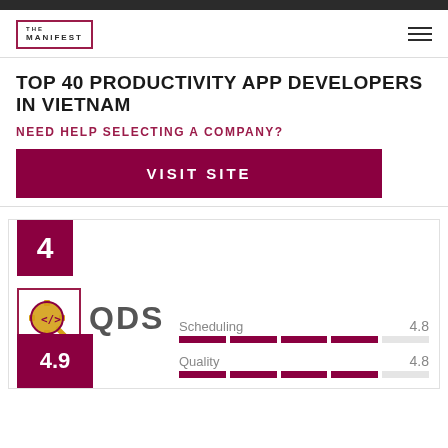[Figure (logo): The Manifest logo - square bracket design with THE MANIFEST text]
TOP 40 PRODUCTIVITY APP DEVELOPERS IN VIETNAM
NEED HELP SELECTING A COMPANY?
VISIT SITE
4
[Figure (logo): QDS company logo - gear/magnifying glass icon with code symbol]
QDS
Scheduling  4.8
Quality  4.8
4.9